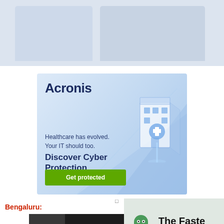[Figure (screenshot): Top strip showing faded screenshot thumbnails of web pages]
[Figure (infographic): Acronis advertisement banner with light blue background, Acronis logo, healthcare cyber protection tagline, 'Get protected' green button, and isometric hospital building illustration]
Bengaluru:
[Figure (screenshot): Video player showing 'No compatible source was found for this media.' message with dark background]
[Figure (infographic): Private Internet Access VPN advertisement showing ghost logo, 'The Faste' (truncated), 'VPN For All Of Your Devic' (truncated)]